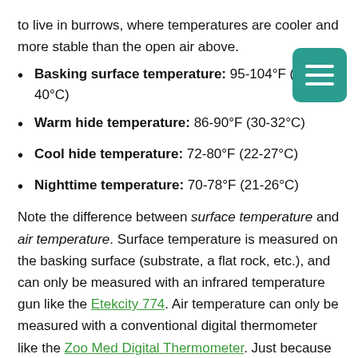to live in burrows, where temperatures are cooler and more stable than the open air above.
Basking surface temperature: 95-104°F (35-40°C)
Warm hide temperature: 86-90°F (30-32°C)
Cool hide temperature: 72-80°F (22-27°C)
Nighttime temperature: 70-78°F (21-26°C)
Note the difference between surface temperature and air temperature. Surface temperature is measured on the basking surface (substrate, a flat rock, etc.), and can only be measured with an infrared temperature gun like the Etekcity 774. Air temperature can only be measured with a conventional digital thermometer like the Zoo Med Digital Thermometer. Just because a surface is hot doesn't mean that the air is hot — have